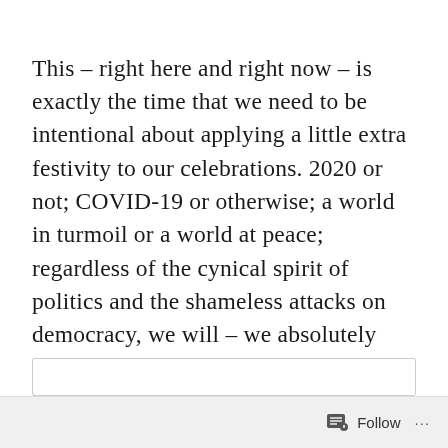This – right here and right now – is exactly the time that we need to be intentional about applying a little extra festivity to our celebrations. 2020 or not; COVID-19 or otherwise; a world in turmoil or a world at peace; regardless of the cynical spirit of politics and the shameless attacks on democracy, we will – we absolutely must – go all out in acknowledging the birth of the Prince of Peace and the ascendency of the spirit of love.
Follow ···